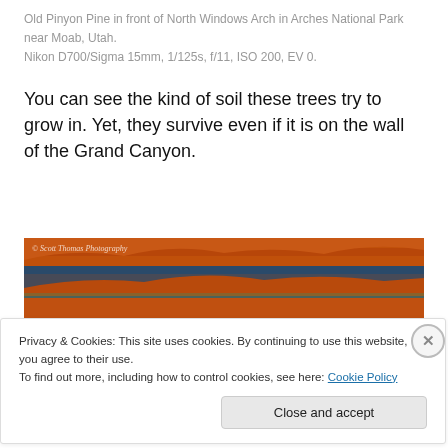Old Pinyon Pine in front of North Windows Arch in Arches National Park near Moab, Utah.
Nikon D700/Sigma 15mm, 1/125s, f/11, ISO 200, EV 0.
You can see the kind of soil these trees try to grow in. Yet, they survive even if it is on the wall of the Grand Canyon.
[Figure (photo): Aerial photo of Grand Canyon showing red rock canyon walls and Colorado River, with watermark '© Scott Thomas Photography']
Privacy & Cookies: This site uses cookies. By continuing to use this website, you agree to their use.
To find out more, including how to control cookies, see here: Cookie Policy
Close and accept